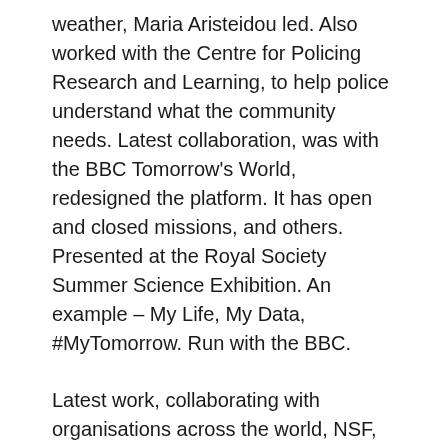weather, Maria Aristeidou led. Also worked with the Centre for Policing Research and Learning, to help police understand what the community needs. Latest collaboration, was with the BBC Tomorrow's World, redesigned the platform. It has open and closed missions, and others. Presented at the Royal Society Summer Science Exhibition. An example – My Life, My Data, #MyTomorrow. Run with the BBC.
Latest work, collaborating with organisations across the world, NSF, Wellcome and ESRC. Three museums – London, SF, and LA, and UCD, OU, and Oxford. LEARN Cit Sci . Museum-led citizen science programme, coastal biodiversity, uploaded to iNaturalist.